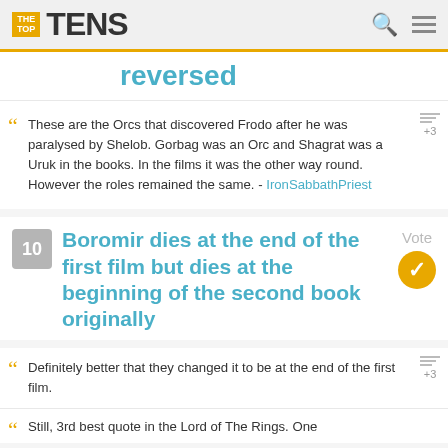THE TOP TENS
reversed
These are the Orcs that discovered Frodo after he was paralysed by Shelob. Gorbag was an Orc and Shagrat was a Uruk in the books. In the films it was the other way round. However the roles remained the same. - IronSabbathPriest
10 Boromir dies at the end of the first film but dies at the beginning of the second book originally
Definitely better that they changed it to be at the end of the first film.
Still, 3rd best quote in the Lord of The Rings. One